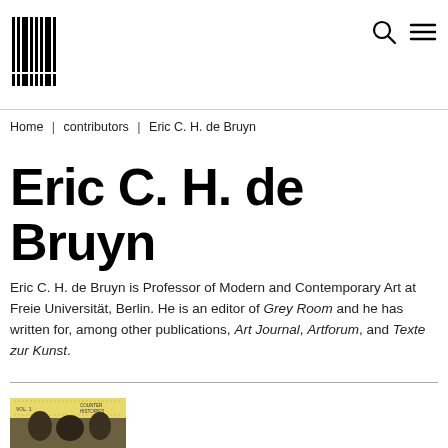MIT Press logo, search icon, menu icon
Home | contributors | Eric C. H. de Bruyn
Eric C. H. de Bruyn
Eric C. H. de Bruyn is Professor of Modern and Contemporary Art at Freie Universität, Berlin. He is an editor of Grey Room and he has written for, among other publications, Art Journal, Artforum, and Texte zur Kunst.
[Figure (photo): Book cover image with yellow background, partially visible, showing a photo of people and text 'COUNTER HISTORIES']